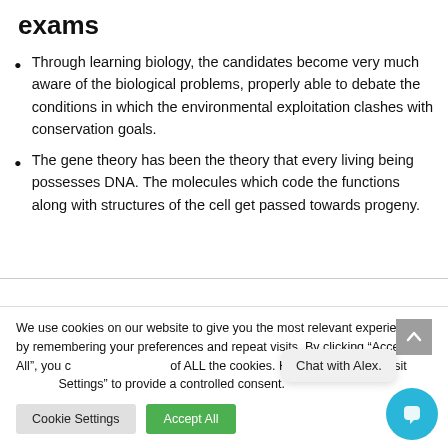exams
Through learning biology, the candidates become very much aware of the biological problems, properly able to debate the conditions in which the environmental exploitation clashes with conservation goals.
The gene theory has been the theory that every living being possesses DNA. The molecules which code the functions along with structures of the cell get passed towards progeny.
We use cookies on our website to give you the most relevant experience by remembering your preferences and repeat visits. By clicking “Accept All”, you consent to the use of ALL the cookies. However, you may visit “Cookie Settings” to provide a controlled consent.
Cookie Settings | Accept All | Chat with Alex.